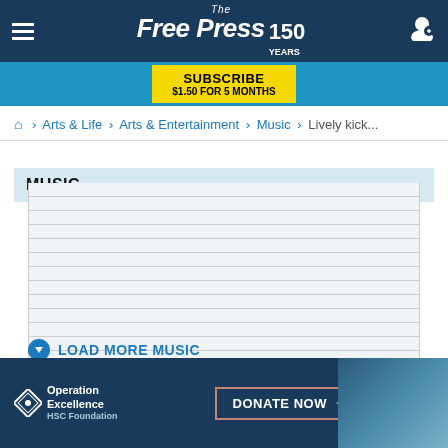The Free Press 150 YEARS
[Figure (other): Subscribe button: SUBSCRIBE $1.50 FOR 5 MONTHS on blue bar]
🏠 > Arts & Life > Arts & Entertainment > Music > Lively kick...
MUSIC
[Figure (other): Article list placeholder rows - blurred/redacted content lines]
⊙ LOAD MORE MUSIC
[Figure (other): Operation Excellence HSC Foundation ad banner with DONATE NOW button]